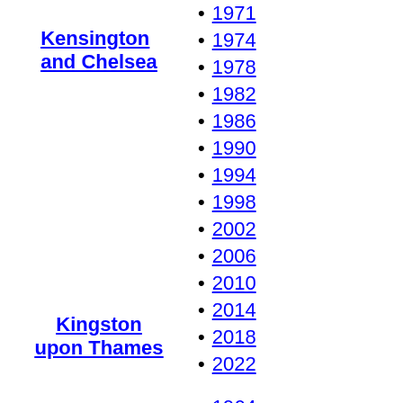Kensington and Chelsea
1971
1974
1978
1982
1986
1990
1994
1998
2002
2006
2010
2014
2018
2022
Kingston upon Thames
1964
1968
1971
1974
1978
1982
1986
1990
1994
1998